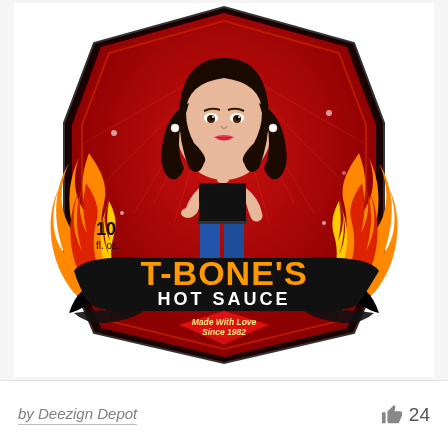[Figure (illustration): Hot sauce bottle label illustration: cartoon woman with dark hair in black top and blue jeans standing among flames, on a red and dark badge-shaped label reading 'T-BONE'S HOT SAUCE', '10 fl. oz.', 'Made With Love Since 1982']
by Deezign Depot
24